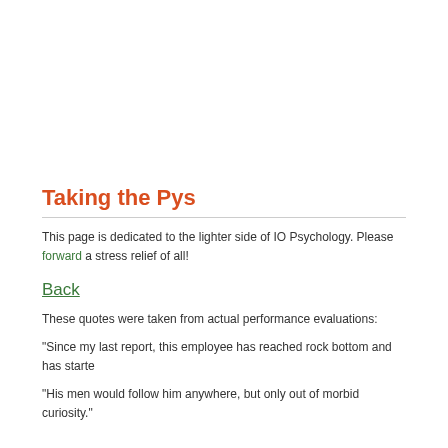Taking the Pys
This page is dedicated to the lighter side of IO Psychology. Please forward an stress relief of all!
Back
These quotes were taken from actual performance evaluations:
"Since my last report, this employee has reached rock bottom and has starte
"His men would follow him anywhere, but only out of morbid curiosity."